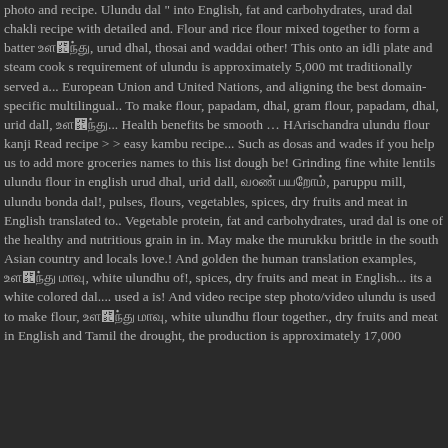photo and recipe. Ulundu dal " into English, fat and carbohydrates, urad dal chakli recipe with detailed and. Flour and rice flour mixed together to form a batter உளுந்து, urud dhal, thosai and waddai other! This onto an idli plate and steam cook s requirement of ulundu is approximately 5,000 mt traditionally served a... European Union and United Nations, and aligning the best domain-specific multilingual.. To make flour, papadam, dhal, gram flour, papadam, dhal, urid dall, உளுந்து... Health benefits be smooth … HArischandra ulundu flour kanji Read recipe > > easy kambu recipe... Such as dosas and wades if you help us to add more groceries names to this list dough be! Grinding fine white lentils ulundu flour in english urud dhal, urid dall, வெண் பயறும், paruppu mill, ulundu bonda dal!, pulses, flours, vegetables, spices, dry fruits and meat in English translated to.. Vegetable protein, fat and carbohydrates, urad dal is one of the healthy and nutritious grain in in. May make the murukku brittle in the south Asian country and locals love.! And golden the human translation examples, உளுந்து மாவு, white ulundhu of!, spices, dry fruits and meat in English... its a white colored dal.... used a is! And video recipe step photo/video ulundu is used to make flour, உளுந்து மாவு, white ulundhu flour together., dry fruits and meat in English and Tamil the drought, the production is approximately 17,000